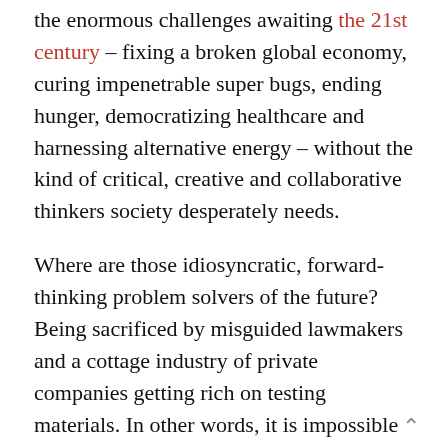the enormous challenges awaiting the 21st century – fixing a broken global economy, curing impenetrable super bugs, ending hunger, democratizing healthcare and harnessing alternative energy – without the kind of critical, creative and collaborative thinkers society desperately needs.

Where are those idiosyncratic, forward-thinking problem solvers of the future? Being sacrificed by misguided lawmakers and a cottage industry of private companies getting rich on testing materials. In other words, it is impossible to breed what we need when there is a fixation on testing and test scores.